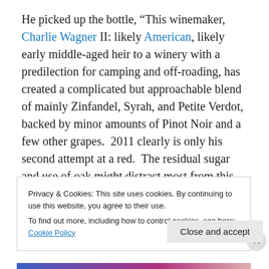He picked up the bottle, “This winemaker, Charlie Wagner II: likely American, likely early middle-aged heir to a winery with a predilection for camping and off-roading, has created a complicated but approachable blend of mainly Zinfandel, Syrah, and Petite Verdot, backed by minor amounts of Pinot Noir and a few other grapes.  2011 clearly is only his second attempt at a red.  The residual sugar and use of oak might distract most from this hunt.  It is neither bad, nor great, but solidly good.”
Privacy & Cookies: This site uses cookies. By continuing to use this website, you agree to their use.
To find out more, including how to control cookies, see here: Cookie Policy
Close and accept